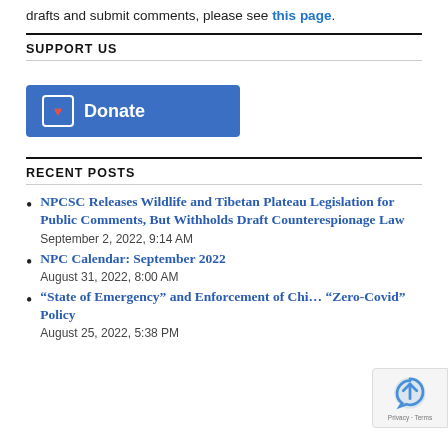drafts and submit comments, please see this page.
SUPPORT US
[Figure (other): Blue Donate button with heart icon]
RECENT POSTS
NPCSC Releases Wildlife and Tibetan Plateau Legislation for Public Comments, But Withholds Draft Counterespionage Law
September 2, 2022, 9:14 AM
NPC Calendar: September 2022
August 31, 2022, 8:00 AM
“State of Emergency” and Enforcement of Chi… “Zero-Covid” Policy
August 25, 2022, 5:38 PM